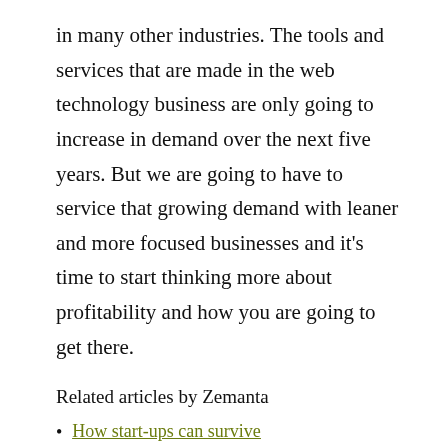in many other industries. The tools and services that are made in the web technology business are only going to increase in demand over the next five years. But we are going to have to service that growing demand with leaner and more focused businesses and it's time to start thinking more about profitability and how you are going to get there.
Related articles by Zemanta
How start-ups can survive
Why nobody's immune from the crunch
Jason Calacanis missive unpublished by Silicon Alley Insider [Great Moments In Journalism]